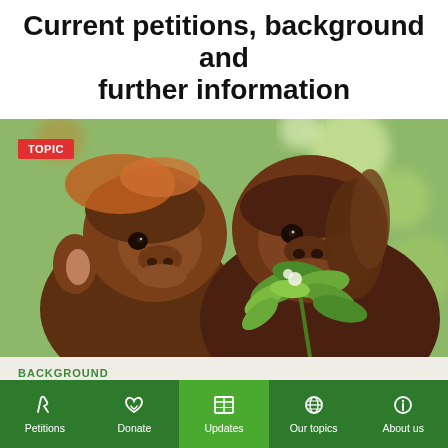Current petitions, background and further information
[Figure (photo): Two young orangutans huddled together looking at green leaves, close-up photograph with blurred green background. A red 'TOPIC' badge appears in the upper left corner.]
BACKGROUND
The rainforest →
Petitions | Donate | Updates | Our topics | About us